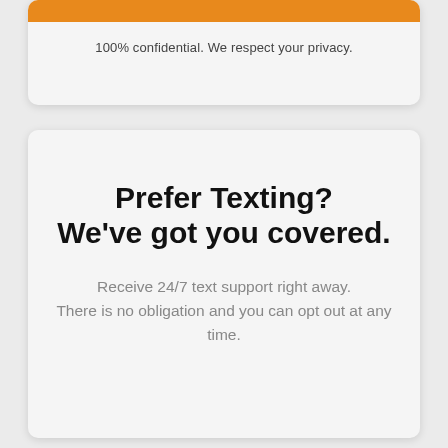[Figure (other): Orange bar at top of upper card]
100% confidential. We respect your privacy.
Prefer Texting?
We've got you covered.
Receive 24/7 text support right away. There is no obligation and you can opt out at any time.